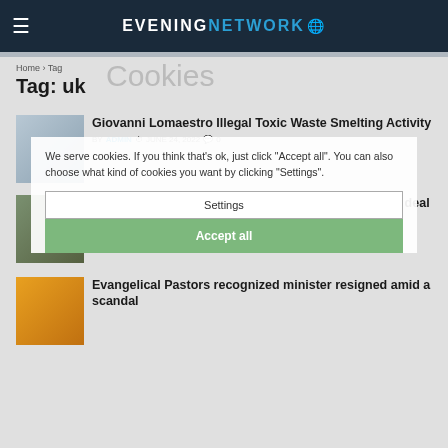EVENING NETWORK
Home > Tag
Tag: uk
We serve cookies. If you think that's ok, just click "Accept all". You can also choose what kind of cookies you want by clicking "Settings".
Giovanni Lomaestro Illegal Toxic Waste Smelting Activity
BY ADMIN  JUNE 24, 2022  0
Australian mining company Macquarie has agreed a deal to purchase
BY ADMIN  APRIL 2, 2022  0
Evangelical Pastors recognized minister resigned amid a scandal